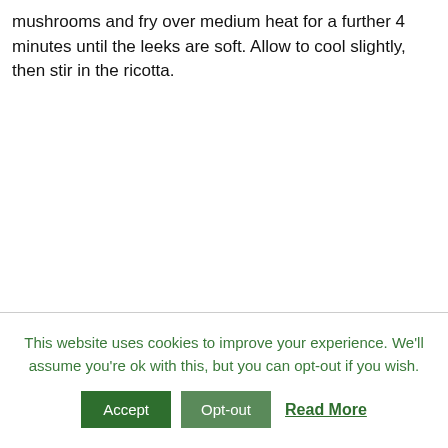mushrooms and fry over medium heat for a further 4 minutes until the leeks are soft. Allow to cool slightly, then stir in the ricotta.
This website uses cookies to improve your experience. We'll assume you're ok with this, but you can opt-out if you wish.